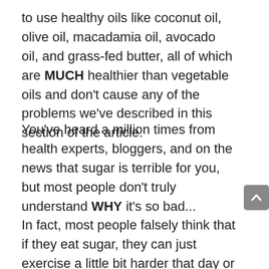to use healthy oils like coconut oil, olive oil, macadamia oil, avocado oil, and grass-fed butter, all of which are MUCH healthier than vegetable oils and don't cause any of the problems we've described in this section of the article.
You've heard a million times from health experts, bloggers, and on the news that sugar is terrible for you, but most people don't truly understand WHY it's so bad... In fact, most people falsely think that if they eat sugar, they can just exercise a little bit harder that day or the next day so they can "burn it off"... Unfortunately, that kind of thinking will lead you to an early grave.